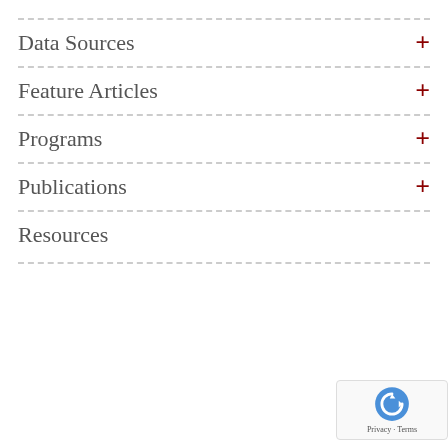Data Sources
Feature Articles
Programs
Publications
Resources